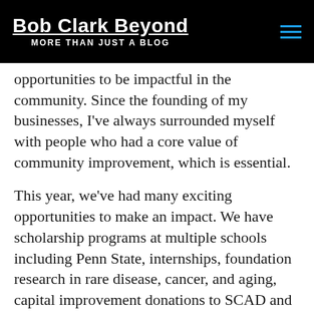Bob Clark Beyond MORE THAN JUST A BLOG
opportunities to be impactful in the community. Since the founding of my businesses, I've always surrounded myself with people who had a core value of community improvement, which is essential.
This year, we've had many exciting opportunities to make an impact. We have scholarship programs at multiple schools including Penn State, internships, foundation research in rare disease, cancer, and aging, capital improvement donations to SCAD and to Washington University Medical